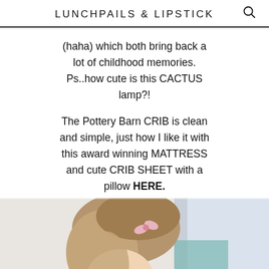LUNCHPAILS & LIPSTICK
(haha) which both bring back a lot of childhood memories. Ps..how cute is this CACTUS lamp?!
The Pottery Barn CRIB is clean and simple, just how I like it with this award winning MATTRESS and cute CRIB SHEET with a pillow HERE.
[Figure (photo): A young girl with light brown hair and a pink bow hair clip, leaning forward, photographed from above in a bright room with soft background.]